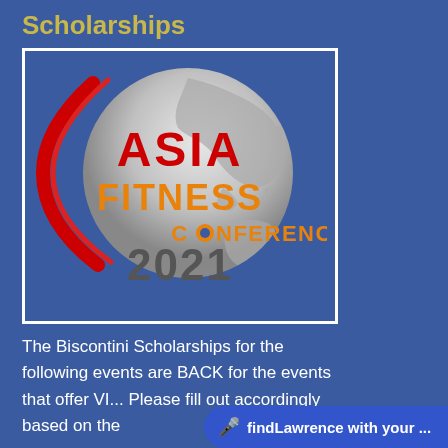Scholarships
[Figure (logo): Asia Fitness Conference 2021 logo: a globe with Asia-Pacific map in grey tones, red crescent arc on left, 'ASIA' in red text, 'FITNESS' in orange text, 'CONFERENCE' in orange text with a camera icon as the 'O', and '2021' in dark grey, all on a dark blue background inside a white-bordered box.]
The Biscontini Scholarships for the following events are BACK for the events that offer VI... Please fill out accordingly based on the
🎤 findLawrence with your ...